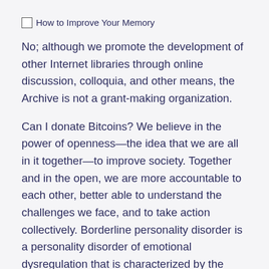How to Improve Your Memory
No; although we promote the development of other Internet libraries through online discussion, colloquia, and other means, the Archive is not a grant-making organization.
Can I donate Bitcoins? We believe in the power of openness—the idea that we are all in it together—to improve society. Together and in the open, we are more accountable to each other, better able to understand the challenges we face, and to take action collectively. Borderline personality disorder is a personality disorder of emotional dysregulation that is characterized by the sufferer consistently exhibiting abnormal self-image, ways of feeling and interacting, leading to difficulties with interpersonal relationships.